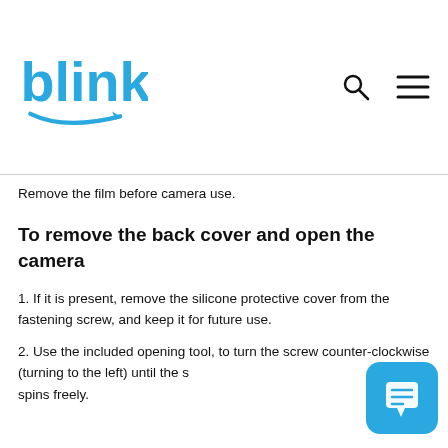blink
Remove the film before camera use.
To remove the back cover and open the camera
1. If it is present, remove the silicone protective cover from the fastening screw, and keep it for future use.
2. Use the included opening tool, to turn the screw counter-clockwise (turning to the left) until the screw spins freely.